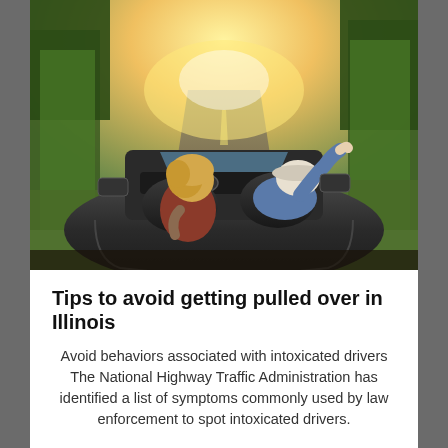[Figure (photo): Two people in a convertible car driving down a long straight road through trees with golden sunlight ahead. View from behind showing a blonde driver and a passenger reclining with legs up on the door.]
Tips to avoid getting pulled over in Illinois
Avoid behaviors associated with intoxicated drivers The National Highway Traffic Administration has identified a list of symptoms commonly used by law enforcement to spot intoxicated drivers.